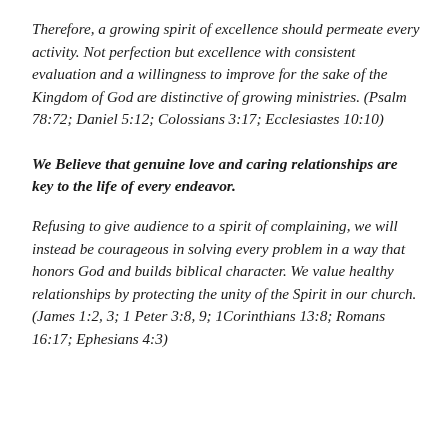Therefore, a growing spirit of excellence should permeate every activity. Not perfection but excellence with consistent evaluation and a willingness to improve for the sake of the Kingdom of God are distinctive of growing ministries. (Psalm 78:72; Daniel 5:12; Colossians 3:17; Ecclesiastes 10:10)
We Believe that genuine love and caring relationships are key to the life of every endeavor.
Refusing to give audience to a spirit of complaining, we will instead be courageous in solving every problem in a way that honors God and builds biblical character. We value healthy relationships by protecting the unity of the Spirit in our church. (James 1:2, 3; 1 Peter 3:8, 9; 1Corinthians 13:8; Romans 16:17; Ephesians 4:3)